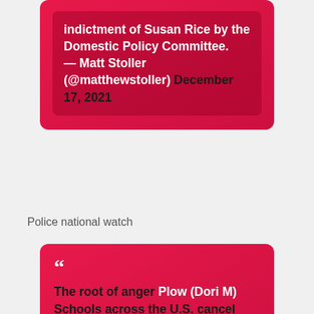[Figure (screenshot): Partial red/pink gradient card with white and dark text showing a quote ending with 'indictment of Susan Rice by the Domestic Policy Committee. — Matt Stoller (@matthewstoller) December 17, 2021']
Police national watch
[Figure (screenshot): Red/pink gradient card with a large quotation mark and text: 'The root of anger Plow (Dori M) Schools across the U.S. cancel classes due to unproven TikTok threats edge']